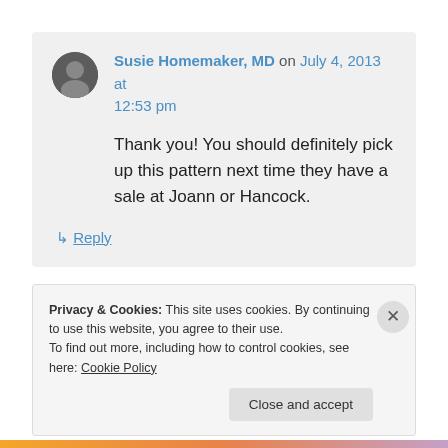Susie Homemaker, MD on July 4, 2013 at 12:53 pm
Thank you! You should definitely pick up this pattern next time they have a sale at Joann or Hancock.
↳ Reply
Privacy & Cookies: This site uses cookies. By continuing to use this website, you agree to their use. To find out more, including how to control cookies, see here: Cookie Policy
Close and accept